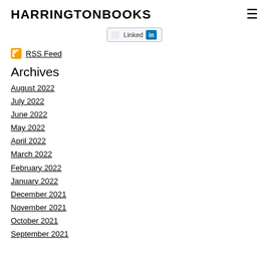HARRINGTONBOOKS
[Figure (other): LinkedIn follow button with small logo and 'Linked in' text inside a rounded rectangle button]
RSS Feed
Archives
August 2022
July 2022
June 2022
May 2022
April 2022
March 2022
February 2022
January 2022
December 2021
November 2021
October 2021
September 2021